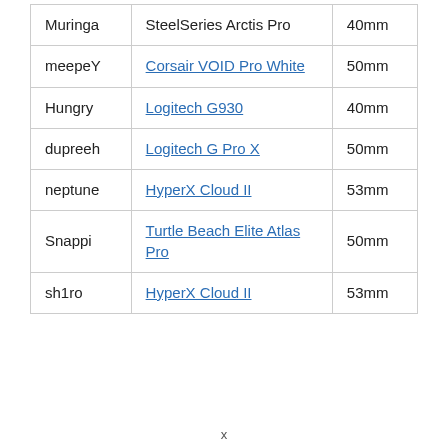| Muringa | SteelSeries Arctis Pro | 40mm |
| meepeY | Corsair VOID Pro White | 50mm |
| Hungry | Logitech G930 | 40mm |
| dupreeh | Logitech G Pro X | 50mm |
| neptune | HyperX Cloud II | 53mm |
| Snappi | Turtle Beach Elite Atlas Pro | 50mm |
| sh1ro | HyperX Cloud II | 53mm |
x